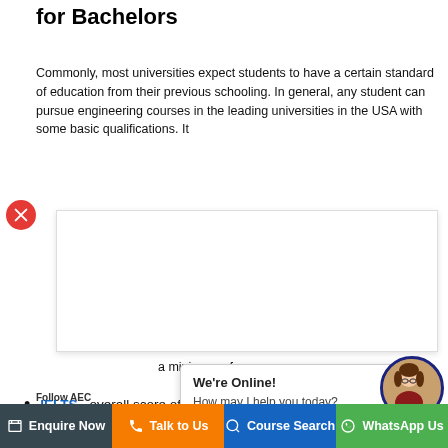for Bachelors
Commonly, most universities expect students to have a certain standard of education from their previous schooling. In general, any student can pursue engineering courses in the leading universities in the USA with some basic qualifications. It
[Figure (screenshot): White popup overlay covering middle section of page with a red X close button on left]
nts must ich includes a minimum of
Follow AEC
[Figure (screenshot): Chat popup bubble saying We're Online! How may I help you today? with avatar circle on right]
IELTS - overall score of 6.0 to 6.5
Enquire Now  Talk to Us  Course Search  WhatsApp Us